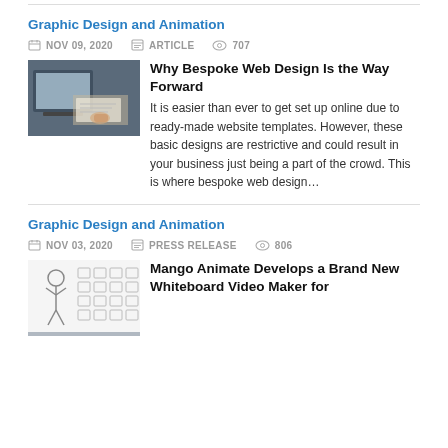Graphic Design and Animation
NOV 09, 2020   ARTICLE   707
Why Bespoke Web Design Is the Way Forward
It is easier than ever to get set up online due to ready-made website templates. However, these basic designs are restrictive and could result in your business just being a part of the crowd. This is where bespoke web design…
Graphic Design and Animation
NOV 03, 2020   PRESS RELEASE   806
Mango Animate Develops a Brand New Whiteboard Video Maker for Adobe Use